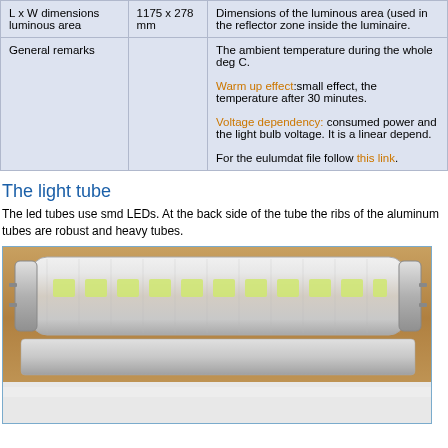| Property | Value | Description |
| --- | --- | --- |
| L x W dimensions luminous area | 1175 x 278 mm | Dimensions of the luminous area (used in the reflector zone inside the luminaire. |
| General remarks |  | The ambient temperature during the whole deg C.
Warm up effect: small effect, the temperature after 30 minutes.
Voltage dependency: consumed power and the light bulb voltage. It is a linear depend.
For the eulumdat file follow this link. |
The light tube
The led tubes use smd LEDs. At the back side of the tube the ribs of the aluminum tubes are robust and heavy tubes.
[Figure (photo): Photo of an LED light tube showing SMD LEDs visible through the transparent cover, with aluminum body and end caps with pins, resting on a wooden surface.]